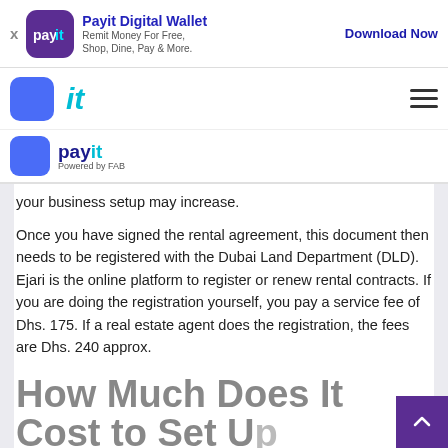[Figure (logo): Payit Digital Wallet banner ad with purple app icon, title 'Payit Digital Wallet', subtitle 'Remit Money For Free, Shop, Dine, Pay & More.' and 'Download Now' button]
[Figure (logo): Navigation bar with blue rounded icon, cyan 'it' text logo, and hamburger menu icon]
[Figure (logo): Payit logo bar with blue rounded icon and 'payit Powered by FAB' text]
your business setup may increase.
Once you have signed the rental agreement, this document then needs to be registered with the Dubai Land Department (DLD). Ejari is the online platform to register or renew rental contracts. If you are doing the registration yourself, you pay a service fee of Dhs. 175. If a real estate agent does the registration, the fees are Dhs. 240 approx.
How Much Does It Cost to Set Up...